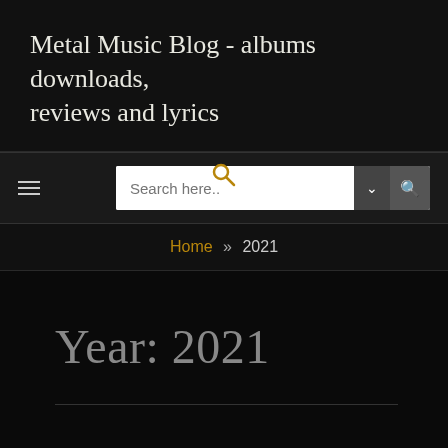Metal Music Blog - albums downloads, reviews and lyrics
≡  [search bar] Search here.. ∨ 🔍
Home » 2021
Year: 2021